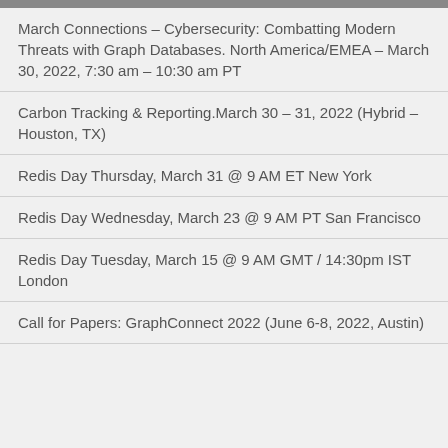March Connections – Cybersecurity: Combatting Modern Threats with Graph Databases. North America/EMEA – March 30, 2022, 7:30 am – 10:30 am PT
Carbon Tracking & Reporting.March 30 – 31, 2022 (Hybrid – Houston, TX)
Redis Day Thursday, March 31 @ 9 AM ET New York
Redis Day Wednesday, March 23 @ 9 AM PT San Francisco
Redis Day Tuesday, March 15 @ 9 AM GMT / 14:30pm IST London
Call for Papers: GraphConnect 2022 (June 6-8, 2022, Austin)